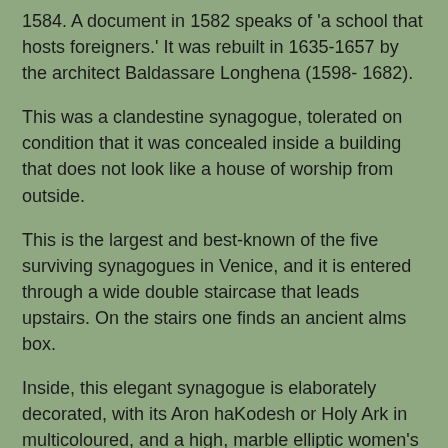1584. A document in 1582 speaks of 'a school that hosts foreigners.' It was rebuilt in 1635-1657 by the architect Baldassare Longhena (1598- 1682).
This was a clandestine synagogue, tolerated on condition that it was concealed inside a building that does not look like a house of worship from outside.
This is the largest and best-known of the five surviving synagogues in Venice, and it is entered through a wide double staircase that leads upstairs. On the stairs one finds an ancient alms box.
Inside, this elegant synagogue is elaborately decorated, with its Aron haKodesh or Holy Ark in multicoloured, and a high, marble elliptic women's gallery.
A tablet on the back wall is inscribed with the names of the Jews deported from Venice in the years 1943-44. Many tablets on the side walls include the names of well-known Venetian Jewish families: Treves, Maurogonato, Gentilomo, Belilios, Coen, Caravaglio ...